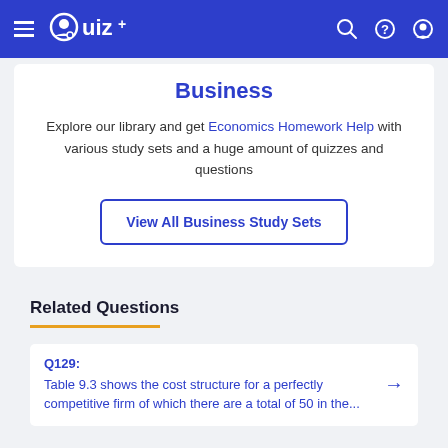Quiz+
Business
Explore our library and get Economics Homework Help with various study sets and a huge amount of quizzes and questions
View All Business Study Sets
Related Questions
Q129: Table 9.3 shows the cost structure for a perfectly competitive firm of which there are a total of 50 in the...